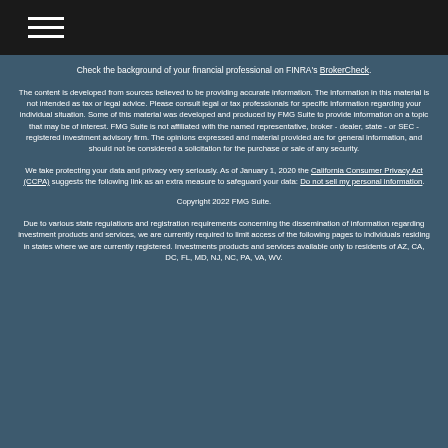Navigation menu header bar
Check the background of your financial professional on FINRA's BrokerCheck.
The content is developed from sources believed to be providing accurate information. The information in this material is not intended as tax or legal advice. Please consult legal or tax professionals for specific information regarding your individual situation. Some of this material was developed and produced by FMG Suite to provide information on a topic that may be of interest. FMG Suite is not affiliated with the named representative, broker - dealer, state - or SEC - registered investment advisory firm. The opinions expressed and material provided are for general information, and should not be considered a solicitation for the purchase or sale of any security.
We take protecting your data and privacy very seriously. As of January 1, 2020 the California Consumer Privacy Act (CCPA) suggests the following link as an extra measure to safeguard your data: Do not sell my personal information.
Copyright 2022 FMG Suite.
Due to various state regulations and registration requirements concerning the dissemination of information regarding investment products and services, we are currently required to limit access of the following pages to individuals residing in states where we are currently registered. Investments products and services available only to residents of AZ, CA, DC, FL, MD, NJ, NC, PA, VA, WV.